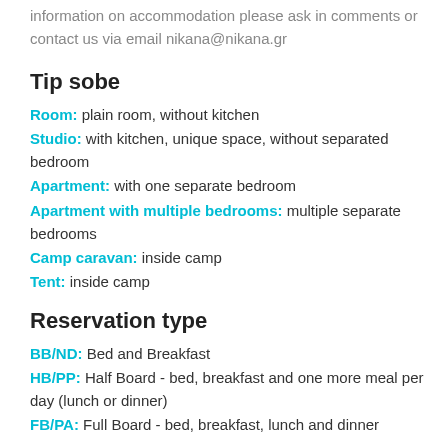information on accommodation please ask in comments or contact us via email nikana@nikana.gr
Tip sobe
Room: plain room, without kitchen
Studio: with kitchen, unique space, without separated bedroom
Apartment: with one separate bedroom
Apartment with multiple bedrooms: multiple separate bedrooms
Camp caravan: inside camp
Tent: inside camp
Reservation type
BB/ND: Bed and Breakfast
HB/PP: Half Board - bed, breakfast and one more meal per day (lunch or dinner)
FB/PA: Full Board - bed, breakfast, lunch and dinner